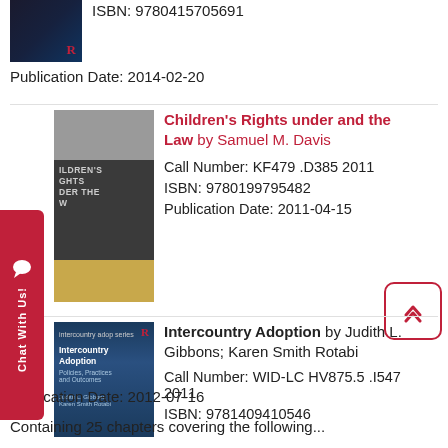ISBN: 9780415705691
Publication Date: 2014-02-20
[Figure (photo): Book cover (partial) - dark cover with R logo]
Children's Rights under and the Law by Samuel M. Davis
[Figure (photo): Book cover - Children's Rights under the Law, grey/dark/gold design]
Call Number: KF479 .D385 2011
ISBN: 9780199795482
Publication Date: 2011-04-15
[Figure (photo): Intercountry Adoption book cover - blue tones]
Intercountry Adoption by Judith L. Gibbons; Karen Smith Rotabi
Call Number: WID-LC HV875.5 .I547 2011
ISBN: 9781409410546
Publication Date: 2012-07-16
Containing 25 chapters covering the following...